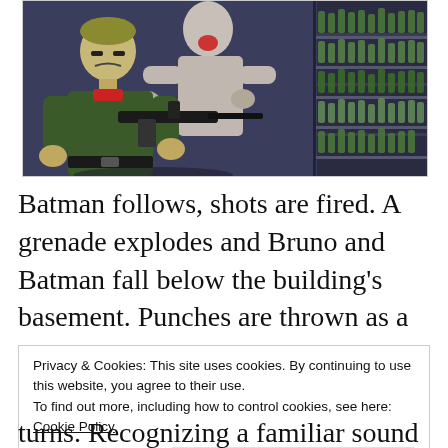[Figure (illustration): Animated scene showing two characters — one in green military outfit holding a machine gun, and a pale shirtless figure behind him — inside a bar or store with shelves of bottles in the background and a red sign partially visible at top.]
Batman follows, shots are fired. A grenade explodes and Bruno and Batman fall below the building's basement. Punches are thrown as a reddish blur sweeps down the
Privacy & Cookies: This site uses cookies. By continuing to use this website, you agree to their use.
To find out more, including how to control cookies, see here: Cookie Policy

Close and accept
turns. Recognizing a familiar sound